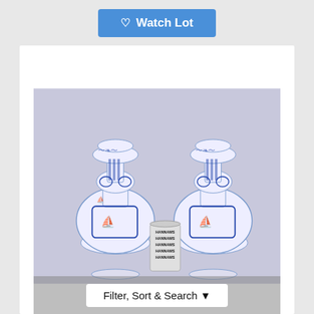[Figure (other): A blue 'Watch Lot' button with a heart icon at the top of the page]
[Figure (photo): Photograph of a pair of blue and white Delft pottery vases with sailing ship cartouches, with a Hannams auction house scale can between them, on a lavender background]
[Figure (other): A 'Filter, Sort & Search' button with a filter funnel icon overlaid on the bottom of the photo]